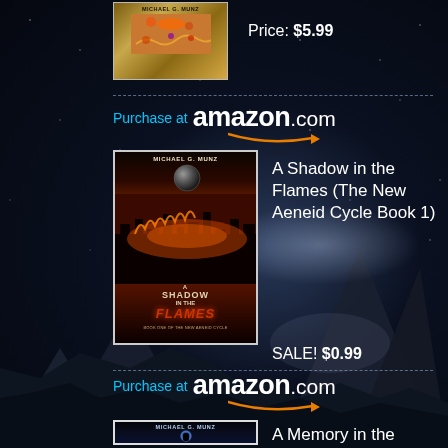[Figure (photo): Book cover for an unknown book by Michael G. Munz, top partial view]
Price: $5.99
Purchase at amazon.com
[Figure (photo): Book cover for 'A Shadow in the Flames' (The New Aeneid Cycle Book 1) by Michael G. Munz, showing a fiery cityscape with a dark sphere]
A Shadow in the Flames (The New Aeneid Cycle Book 1)
SALE! $0.99
Purchase at amazon.com
[Figure (photo): Book cover for 'A Memory in the Black' (The New Aeneid Cycle Book 2) by Michael G. Munz, showing a figure silhouetted against a moon]
A Memory in the Black (The New Aeneid Cycle Book 2)